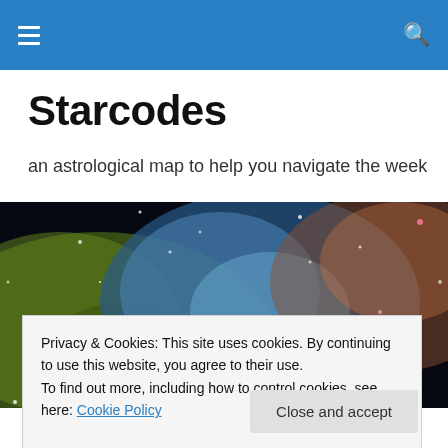Starcodes – site header with hamburger menu and search icon
Starcodes
an astrological map to help you navigate the week
[Figure (photo): Space nebula photograph showing colorful cosmic clouds with stars, blues, greens, yellows and pinks against a dark background]
Privacy & Cookies: This site uses cookies. By continuing to use this website, you agree to their use.
To find out more, including how to control cookies, see here: Cookie Policy
This weekend we may feel deeply ambiguous about